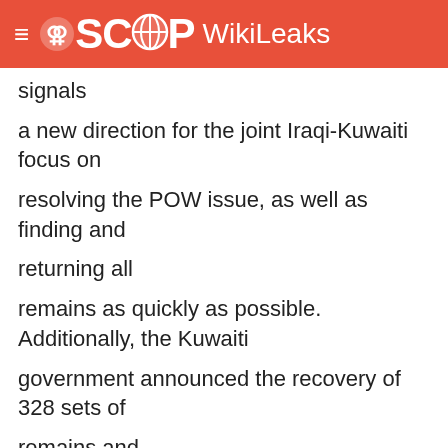SCOOP WikiLeaks
signals a new direction for the joint Iraqi-Kuwaiti focus on resolving the POW issue, as well as finding and returning all remains as quickly as possible. Additionally, the Kuwaiti government announced the recovery of 328 sets of remains and the further identification of 175 of those sets. The Iraqi delegation reported the identification of approximately 262 mass grave sites so far. END SUMMARY.
2. The Tripartite's Technical Subcommittee meeting was